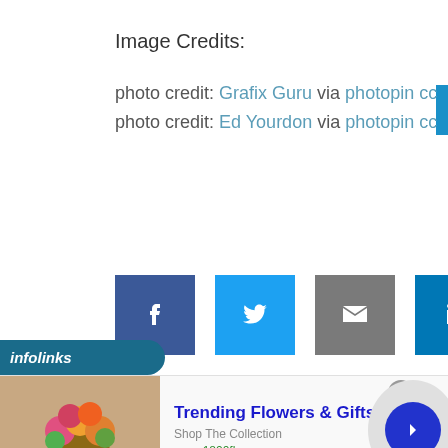Image Credits:
photo credit: Grafix Guru via photopin cc
photo credit: Ed Yourdon via photopin cc
[Figure (infographic): Social sharing icons: Facebook (blue), Twitter (light blue), Email (gray), LinkedIn (dark blue), Mix (orange-red)]
[Figure (infographic): Infolinks advertisement bar with flower bouquet ad: Trending Flowers & Gifts, Shop The Collection, www.1800flowers.com]